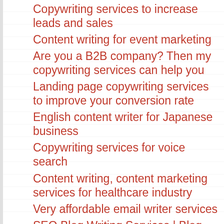Copywriting services to increase leads and sales
Content writing for event marketing
Are you a B2B company? Then my copywriting services can help you
Landing page copywriting services to improve your conversion rate
English content writer for Japanese business
Copywriting services for voice search
Content writing, content marketing services for healthcare industry
Very affordable email writer services
SEO Blog Writing Services | Blog Writing Service for SEO
Help with email proposal writing
Hindi content writing services – Hindi content writer
Why Credible Content Writing Service?